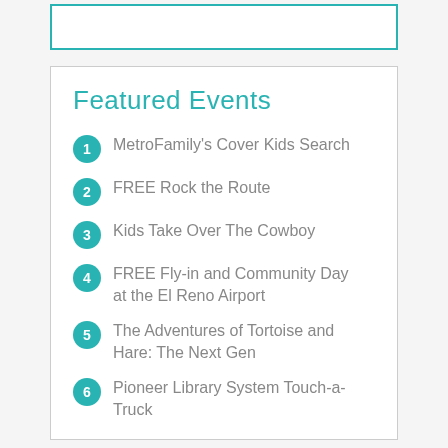Featured Events
MetroFamily's Cover Kids Search
FREE Rock the Route
Kids Take Over The Cowboy
FREE Fly-in and Community Day at the El Reno Airport
The Adventures of Tortoise and Hare: The Next Gen
Pioneer Library System Touch-a-Truck